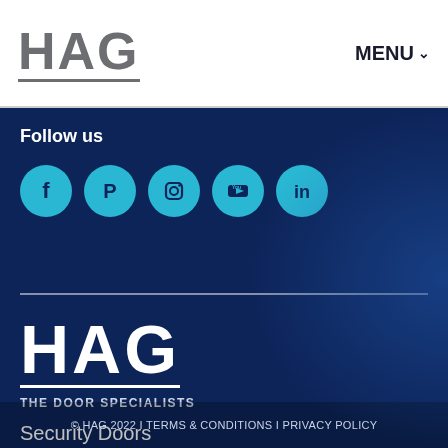[Figure (logo): HAG logo in grey with underline, top-left header]
MENU ⌄
Follow us
[Figure (infographic): Five social media icons in cyan circles: Facebook, Pinterest, Instagram, YouTube, LinkedIn]
[Figure (logo): HAG white logo with tagline THE DOOR SPECIALISTS]
Security Doors
Fire Doors
Automatic Doors
Environmental Doors
© HAG 2022 I TERMS & CONDITIONS I PRIVACY POLICY